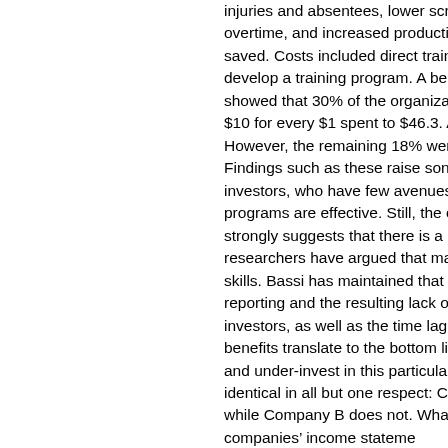injuries and absentees, lower scrap, lower overtime, and increased productivity saved. Costs included direct training develop a training program. A benefit showed that 30% of the organizations $10 for every $1 spent to $46.3. Another However, the remaining 18% were b Findings such as these raise some investors, who have few avenues programs are effective. Still, the strongly suggests that there is a researchers have argued that many skills. Bassi has maintained that at le reporting and the resulting lack of investors, as well as the time lag benefits translate to the bottom li and under-invest in this particula identical in all but one respect: Con while Company B does not. What companies' income stateme (SG&A) and correspondingly lo not be evident, however, is that so for Company A is actually an inve